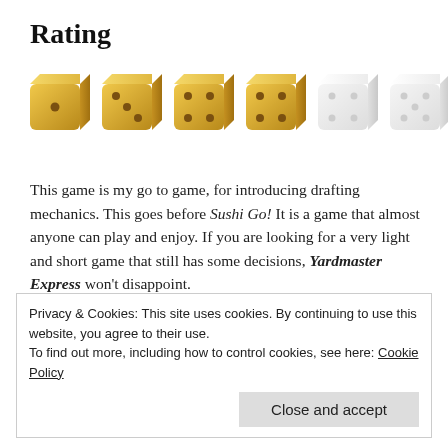Rating
[Figure (illustration): Six dice in a row: four golden/bronze colored dice (filled rating) and two light/white colored dice (empty rating), representing a 4 out of 6 rating.]
This game is my go to game, for introducing drafting mechanics. This goes before Sushi Go! It is a game that almost anyone can play and enjoy. If you are looking for a very light and short game that still has some decisions, Yardmaster Express won't disappoint.
Privacy & Cookies: This site uses cookies. By continuing to use this website, you agree to their use.
To find out more, including how to control cookies, see here: Cookie Policy